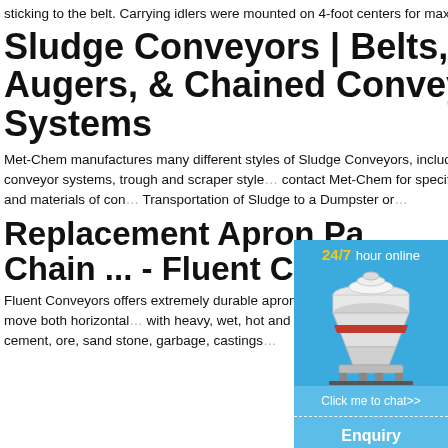sticking to the belt. Carrying idlers were mounted on 4-foot centers for maximum support of the biosolids and belt.
Sludge Conveyors | Belts, Augers, & Chained Conveyor Systems
Met-Chem manufactures many different styles of Sludge Conveyors, including belt conveyor systems, screw auger conveyor systems, trough and scraper style … contact Met-Chem for specific engineering … size, length, elevation, and materials of con… Transportation of Sludge to a Dumpster or …
Replacement Apron Pa… Chain ... - Fluent Convo…
Fluent Conveyors offers extremely durable apron pan conveyor belts with little to no m… belts are positioned to move both horizontal… with heavy, wet, hot and abrupt materials s… cement, ore, sand stone, garbage, castings…
[Figure (photo): Advertisement overlay showing a cone crusher machine on a blue background with '24/7 hour online' text, a 'Click me to chat>>' button, 'Enquiry' text, and 'limingjlmofen' username.]